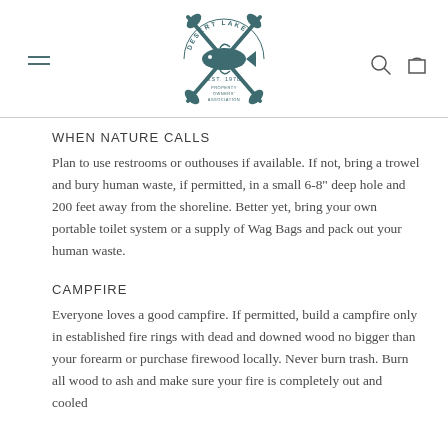Desert Lake Property Owners Association — EST. 1978
WHEN NATURE CALLS
Plan to use restrooms or outhouses if available. If not, bring a trowel and bury human waste, if permitted, in a small 6-8" deep hole and 200 feet away from the shoreline. Better yet, bring your own portable toilet system or a supply of Wag Bags and pack out your human waste.
CAMPFIRE
Everyone loves a good campfire. If permitted, build a campfire only in established fire rings with dead and downed wood no bigger than your forearm or purchase firewood locally. Never burn trash. Burn all wood to ash and make sure your fire is completely out and cooled